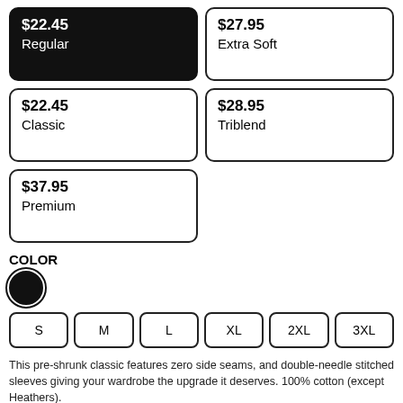$22.45 Regular (selected)
$27.95 Extra Soft
$22.45 Classic
$28.95 Triblend
$37.95 Premium
COLOR
[Figure (other): Black color swatch (selected), circular with border]
S  M  L  XL  2XL  3XL (size options)
This pre-shrunk classic features zero side seams, and double-needle stitched sleeves giving your wardrobe the upgrade it deserves. 100% cotton (except Heathers).